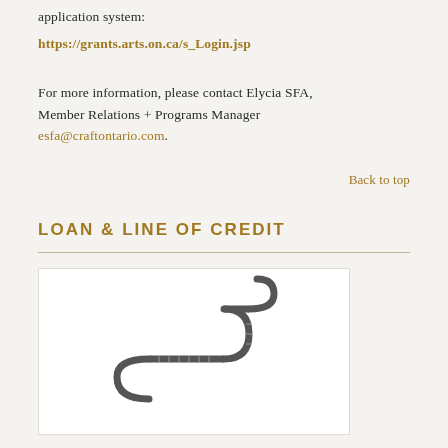application system:
https://grants.arts.on.ca/s_Login.jsp
For more information, please contact Elycia SFA, Member Relations + Programs Manager esfa@craftontario.com.
Back to top
LOAN & LINE OF CREDIT
[Figure (photo): A sculptural object made of a coiled or chain-like material bent into an S or Z shape, photographed against a white background.]